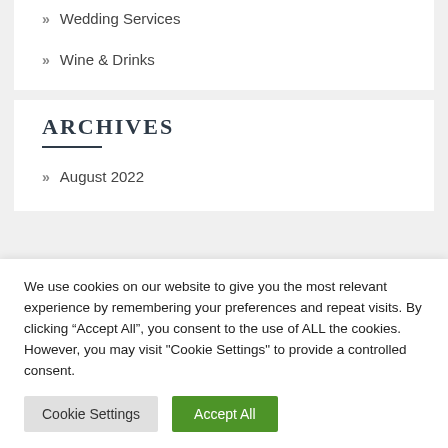» Wedding Services
» Wine & Drinks
ARCHIVES
» August 2022
We use cookies on our website to give you the most relevant experience by remembering your preferences and repeat visits. By clicking “Accept All”, you consent to the use of ALL the cookies. However, you may visit "Cookie Settings" to provide a controlled consent.